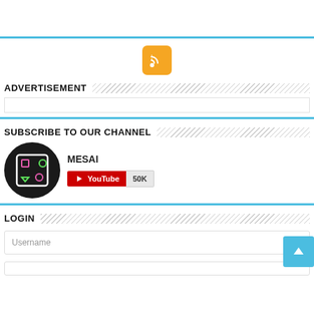[Figure (other): Top white bar with cyan bottom border]
[Figure (logo): RSS feed icon - orange/yellow square with white RSS symbol]
ADVERTISEMENT
[Figure (other): Advertisement content box with cyan bottom border]
SUBSCRIBE TO OUR CHANNEL
[Figure (other): Channel subscription widget: MESAI channel logo (black circle with gaming shapes) and YouTube subscribe button showing 50K subscribers]
LOGIN
Username input field
[Figure (other): Scroll to top button - cyan square with up arrow]